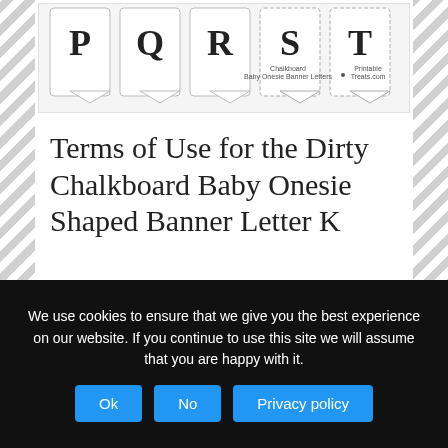[Figure (illustration): A row of banner letter tiles on baby onesie shapes showing letters P, Q, R, S, T with a chalkboard style design. Watermark text reads 'Chalkboard Baby Onesie Banner Letters' and 'PrintableTreats.com'.]
Terms of Use for the Dirty Chalkboard Baby Onesie Shaped Banner Letter K
You may use these files for your own personal, non-commercial use only. You may not distribute or sell the files or claim them as your own. Files may be printed and distributed in educational environments.
We use cookies to ensure that we give you the best experience on our website. If you continue to use this site we will assume that you are happy with it.